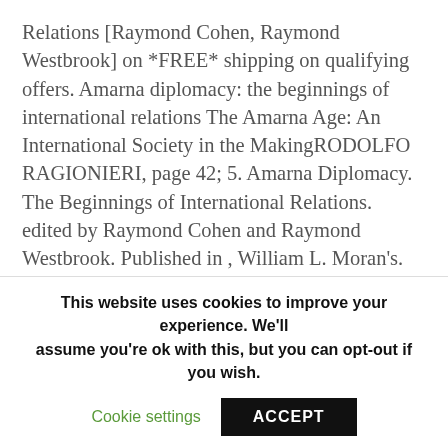Relations [Raymond Cohen, Raymond Westbrook] on *FREE* shipping on qualifying offers. Amarna diplomacy: the beginnings of international relations The Amarna Age: An International Society in the MakingRODOLFO RAGIONIERI, page 42; 5. Amarna Diplomacy. The Beginnings of International Relations. edited by Raymond Cohen and Raymond Westbrook. Published in , William L. Moran's.
[Figure (illustration): Book cover of 'Amarna Diplomacy: The Beginnings of International Relations' showing the title text in dark blue with a vertical dark blue bar on the left and right side of the text.]
This website uses cookies to improve your experience. We'll assume you're ok with this, but you can opt-out if you wish.
Cookie settings   ACCEPT